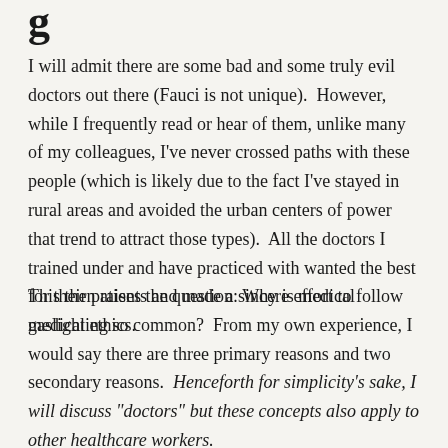g
I will admit there are some bad and some truly evil doctors out there (Fauci is not unique).  However, while I frequently read or hear of them, unlike many of my colleagues, I've never crossed paths with these people (which is likely due to the fact I've stayed in rural areas and avoided the urban centers of power that trend to attract those types).  All the doctors I trained under and have practiced with wanted the best for their patients and made a sincere effort to follow medical ethics.
This then raises the question: Why is medical gaslighting so common?  From my own experience, I would say there are three primary reasons and two secondary reasons.  Henceforth for simplicity's sake, I will discuss "doctors" but these concepts also apply to other healthcare workers.